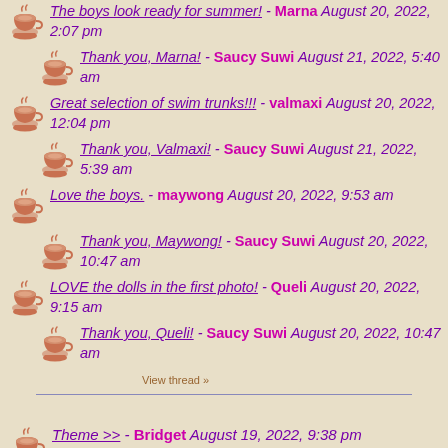The boys look ready for summer! - Marna August 20, 2022, 2:07 pm
Thank you, Marna! - Saucy Suwi August 21, 2022, 5:40 am
Great selection of swim trunks!!! - valmaxi August 20, 2022, 12:04 pm
Thank you, Valmaxi! - Saucy Suwi August 21, 2022, 5:39 am
Love the boys. - maywong August 20, 2022, 9:53 am
Thank you, Maywong! - Saucy Suwi August 20, 2022, 10:47 am
LOVE the dolls in the first photo! - Queli August 20, 2022, 9:15 am
Thank you, Queli! - Saucy Suwi August 20, 2022, 10:47 am
View thread »
Theme >> - Bridget August 19, 2022, 9:38 pm